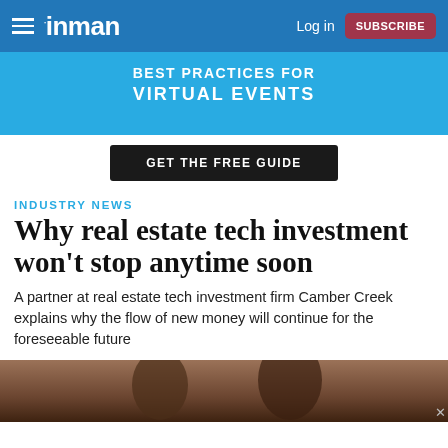inman — Log in | SUBSCRIBE
[Figure (infographic): Advertisement banner: BEST PRACTICES FOR VIRTUAL EVENTS — GET THE FREE GUIDE button]
INDUSTRY NEWS
Why real estate tech investment won't stop anytime soon
A partner at real estate tech investment firm Camber Creek explains why the flow of new money will continue for the foreseeable future
[Figure (photo): Partial photo of two people seated, cropped at bottom of page]